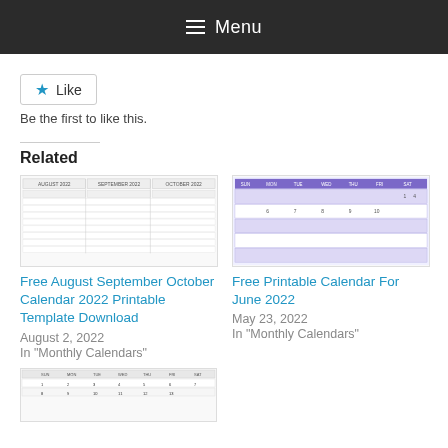Menu
Like
Be the first to like this.
Related
[Figure (other): Thumbnail of Free August September October Calendar 2022 Printable Template Download]
Free August September October Calendar 2022 Printable Template Download
August 2, 2022
In "Monthly Calendars"
[Figure (other): Thumbnail of Free Printable Calendar For June 2022]
Free Printable Calendar For June 2022
May 23, 2022
In "Monthly Calendars"
[Figure (other): Thumbnail of another printable calendar (bottom, partially visible)]